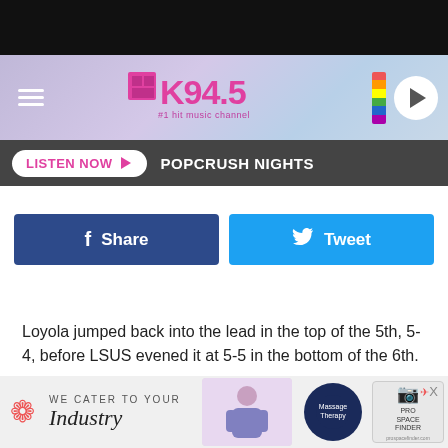[Figure (screenshot): K94.5 radio station website header with logo, hamburger menu, and play button]
LISTEN NOW  POPCRUSH NIGHTS
[Figure (infographic): Facebook Share and Twitter Tweet social sharing buttons]
Loyola jumped back into the lead in the top of the 5th, 5-4, before LSUS evened it at 5-5 in the bottom of the 6th.
LSUS would take their first lead in the bottom of the seventh,
[Figure (infographic): Advertisement banner: We Cater to Your Industry - with illustration, massage therapy logo, and Pro Space Finder logo]